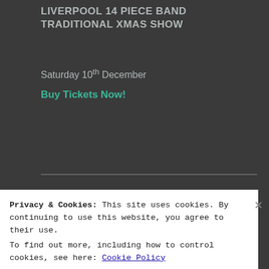LIVERPOOL 14 PIECE BAND TRADITIONAL XMAS SHOW
Saturday 10th December
Buy Tickets Now!
LATEST NEWS
Brand New Single Announced!
Finally the 2021 Tour is nearly here!
Privacy & Cookies: This site uses cookies. By continuing to use this website, you agree to their use.
To find out more, including how to control cookies, see here: Cookie Policy
Close and accept